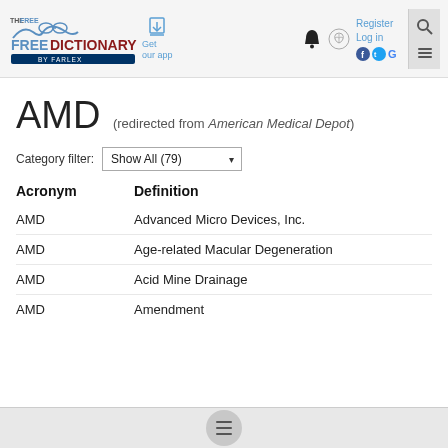THE FREE DICTIONARY BY FARLEX — Get our app — Register Log in
AMD (redirected from American Medical Depot)
Category filter: Show All (79)
| Acronym | Definition |
| --- | --- |
| AMD | Advanced Micro Devices, Inc. |
| AMD | Age-related Macular Degeneration |
| AMD | Acid Mine Drainage |
| AMD | Amendment |